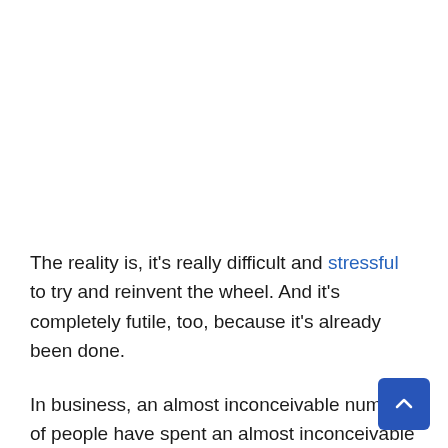The reality is, it's really difficult and stressful to try and reinvent the wheel. And it's completely futile, too, because it's already been done.
In business, an almost inconceivable number of people have spent an almost inconceivable amount of money, and an almost inconceivable amount of time, refining and testing out